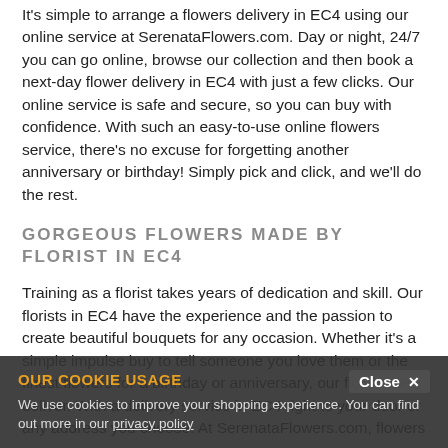It's simple to arrange a flowers delivery in EC4 using our online service at SerenataFlowers.com. Day or night, 24/7 you can go online, browse our collection and then book a next-day flower delivery in EC4 with just a few clicks. Our online service is safe and secure, so you can buy with confidence. With such an easy-to-use online flowers service, there's no excuse for forgetting another anniversary or birthday! Simply pick and click, and we'll do the rest.
GORGEOUS FLOWERS MADE BY FLORIST IN EC4
Training as a florist takes years of dedication and skill. Our florists in EC4 have the experience and the passion to create beautiful bouquets for any occasion. Whether it's a simple impulse buy to tell someone you love them or the finest flowers for a birthday or anniversary, our florist can deliver. With a delivery service in EC4 right to your door or any address you choose. At SerenataFlowers.com, flowers
OUR COOKIE USAGE
We use cookies to improve your shopping experience. You can find out more in our privacy policy